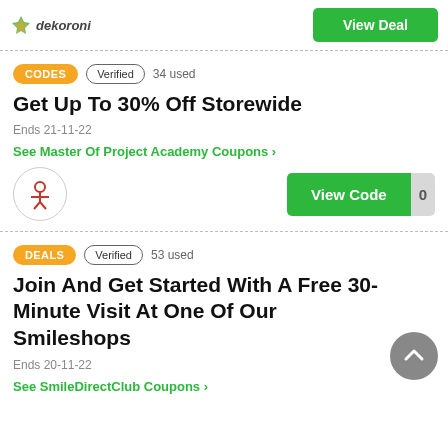[Figure (logo): Dekoroni logo with green leaf icon and italic text]
View Deal
CODES   Verified   34 used
Get Up To 30% Off Storewide
Ends 21-11-22
See Master Of Project Academy Coupons >
[Figure (logo): Master of Project Academy circular logo with red figure icon]
View Code  0
DEALS   Verified   53 used
Join And Get Started With A Free 30-Minute Visit At One Of Our Smileshops
Ends 20-11-22
See SmileDirectClub Coupons >